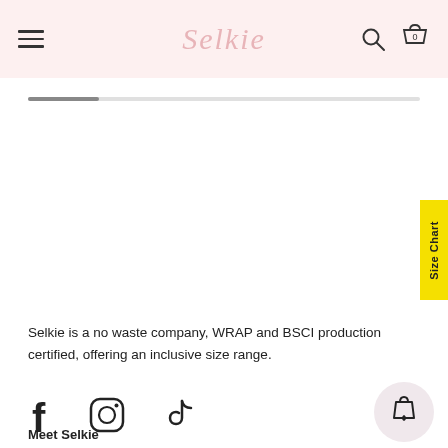Selkie — navigation header with hamburger menu, logo, search and cart icons
[Figure (infographic): Horizontal progress bar / image scroll indicator, approximately 18% filled in dark grey on a light grey track]
[Figure (infographic): Yellow vertical 'Size Chart' tab on the right edge of the page]
Selkie is a no waste company, WRAP and BSCI production certified, offering an inclusive size range.
[Figure (infographic): Social media icons: Facebook (f), Instagram (camera), TikTok (musical note) and a wishlist/shopping bag with heart icon button]
Meet Selkie